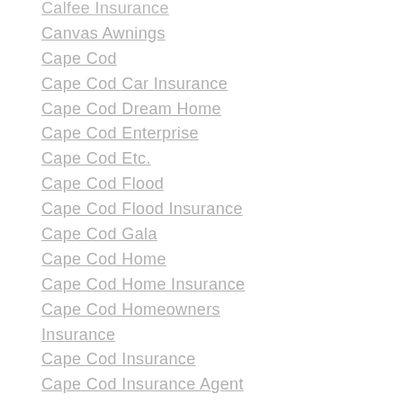Calfee Insurance
Canvas Awnings
Cape Cod
Cape Cod Car Insurance
Cape Cod Dream Home
Cape Cod Enterprise
Cape Cod Etc.
Cape Cod Flood
Cape Cod Flood Insurance
Cape Cod Gala
Cape Cod Home
Cape Cod Home Insurance
Cape Cod Homeowners Insurance
Cape Cod Insurance
Cape Cod Insurance Agent
Cape Cod Investment Products
Cape Cod Land